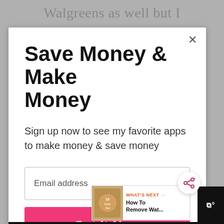Walgreens as well but I
Save Money & Make Money
Sign up now to see my favorite apps to make money & save money
Email address
Get It Now
[Figure (screenshot): What's Next overlay showing a thumbnail and title 'How To Remove Wat...' with WHAT'S NEXT label in orange]
[Figure (infographic): Bottom ad bar: Peet's Coffee - Peet's Slow Summer Sweetness advertisement with logo, navigation arrow button, and WW logo on the right]